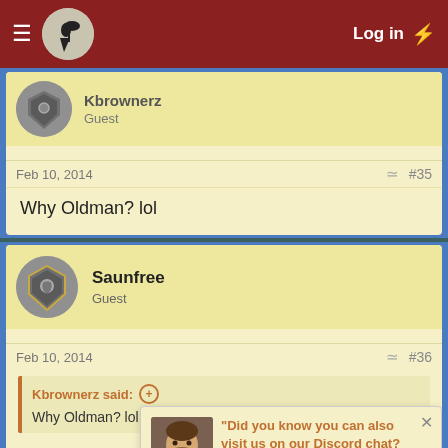Log in
Kbrownerz
Guest
Feb 10, 2014  #35
Why Oldman? lol
Saunfree
Guest
Feb 10, 2014  #36
Kbrownerz said:
Why Oldman? lol
You'll eventually find out, don't you worry
sidd ; this is w71 not 56, what has koss done exactly?
"Did you know you can also visit us on our Discord chat? Come and meet us!"